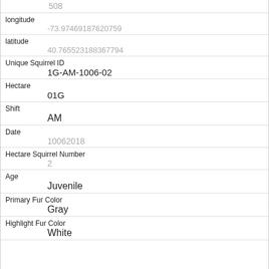|  | 508 |
| longitude | -73.97469187620759 |
| latitude | 40.765523188367794 |
| Unique Squirrel ID | 1G-AM-1006-02 |
| Hectare | 01G |
| Shift | AM |
| Date | 10062018 |
| Hectare Squirrel Number | 2 |
| Age | Juvenile |
| Primary Fur Color | Gray |
| Highlight Fur Color | White |